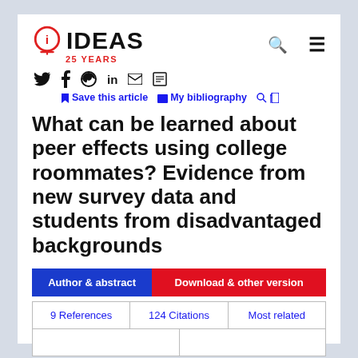[Figure (logo): IDEAS 25 YEARS logo with lightbulb icon in red circle]
[Figure (infographic): Social share icons: Twitter, Facebook, Reddit, LinkedIn, Email, Print]
Save this article  My bibliography
What can be learned about peer effects using college roommates? Evidence from new survey data and students from disadvantaged backgrounds
Author & abstract  Download & other version  9 References  124 Citations  Most related